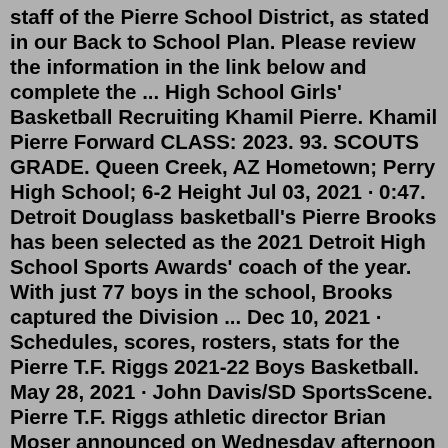staff of the Pierre School District, as stated in our Back to School Plan. Please review the information in the link below and complete the ... High School Girls' Basketball Recruiting Khamil Pierre. Khamil Pierre Forward CLASS: 2023. 93. SCOUTS GRADE. Queen Creek, AZ Hometown; Perry High School; 6-2 Height Jul 03, 2021 · 0:47. Detroit Douglass basketball's Pierre Brooks has been selected as the 2021 Detroit High School Sports Awards' coach of the year. With just 77 boys in the school, Brooks captured the Division ... Dec 10, 2021 · Schedules, scores, rosters, stats for the Pierre T.F. Riggs 2021-22 Boys Basketball. May 28, 2021 · John Davis/SD SportsScene. Pierre T.F. Riggs athletic director Brian Moser announced on Wednesday afternoon the hiring of Brianna Kusler as the head boys basketball coach for the Govs. Kusler will ... Jul 03, 2021 · 0:47. Detroit Douglass basketball's Pierre Brooks has been selected as the 2021 Detroit High School Sports Awards' coach of the year. With just 77 boys in the school, Brooks captured the Division ... This one's for you, basketball